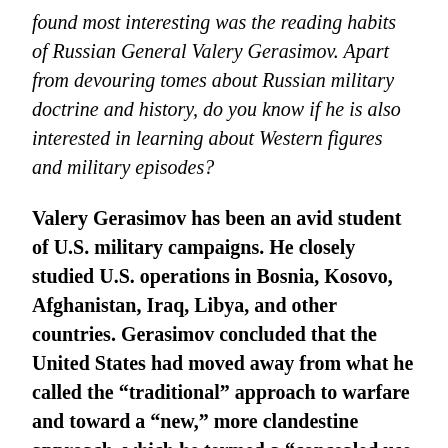found most interesting was the reading habits of Russian General Valery Gerasimov. Apart from devouring tomes about Russian military doctrine and history, do you know if he is also interested in learning about Western figures and military episodes?
Valery Gerasimov has been an avid student of U.S. military campaigns. He closely studied U.S. operations in Bosnia, Kosovo, Afghanistan, Iraq, Libya, and other countries. Gerasimov concluded that the United States had moved away from what he called the “traditional” approach to warfare and toward a “new,” more clandestine approach, which he termed a “concealed use of force.” Gerasimov’s study of the United States was instrumental in